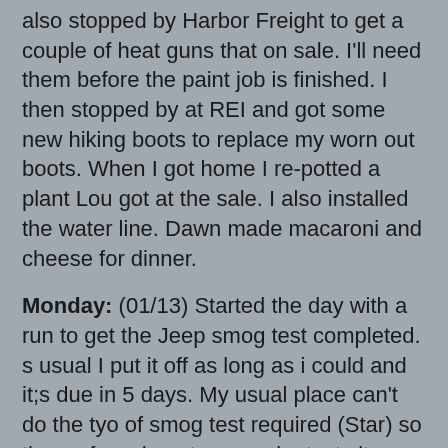also stopped by Harbor Freight to get a couple of heat guns that on sale. I'll need them before the paint job is finished. I then stopped by at REI and got some new hiking boots to replace my worn out boots. When I got home I re-potted a plant Lou got at the sale. I also installed the water line. Dawn made macaroni and cheese for dinner.
Monday: (01/13) Started the day with a run to get the Jeep smog test completed. s usual I put it off as long as i could and it;s due in 5 days. My usual place can't do the tyo of smog test required (Star) so they referred me to a nearby test site. They completed the test in about 30 minutes while I got breakfast at a nearby doughnut shop. I also stopped by a sewing machine shop where Lou had ordered a replacement foot pedal for her sewing machine. Then it was time to take the new microwave back to Fry's Electronics. It had failed already. No problem replacing it. The first new machine would only run about 5 minutes before tripping it's internal circuit breaker. The new new microwave did the same after 15 minutes. I guess we'll try to live with that if it doesn't get worse. The power to the outlet is perfect in wiring and voltage before and during the running of the microwave so I